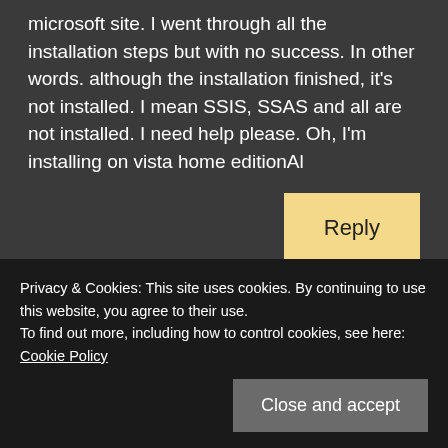microsoft site. I went through all the installation steps but with no success. In other words. although the installation finished, it's not installed. I mean SSIS, SSAS and all are not installed. I need help please. Oh, I'm installing on vista home editionAl
Reply
[Figure (illustration): User avatar: cartoon face with glasses and buck teeth on orange/tan background]
Al
Privacy & Cookies: This site uses cookies. By continuing to use this website, you agree to their use.
To find out more, including how to control cookies, see here: Cookie Policy
Close and accept
Although I went through the installation steps as directed,